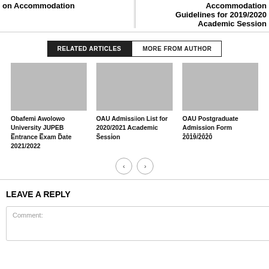on Accommodation
Accommodation Guidelines for 2019/2020 Academic Session
RELATED ARTICLES    MORE FROM AUTHOR
[Figure (illustration): Placeholder image for article: Obafemi Awolowo University JUPEB Entrance Exam Date 2021/2022]
Obafemi Awolowo University JUPEB Entrance Exam Date 2021/2022
[Figure (illustration): Placeholder image for article: OAU Admission List for 2020/2021 Academic Session]
OAU Admission List for 2020/2021 Academic Session
[Figure (illustration): Placeholder image for article: OAU Postgraduate Admission Form 2019/2020]
OAU Postgraduate Admission Form 2019/2020
LEAVE A REPLY
Comment: